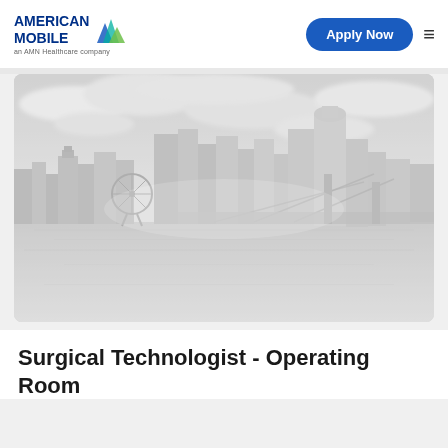[Figure (logo): American Mobile logo with AMN Healthcare company tagline and mountain/wave icon in blue and green]
[Figure (other): Apply Now button (blue rounded pill) and hamburger menu icon]
[Figure (photo): Grayscale/desaturated panoramic cityscape photo showing Cincinnati skyline with bridge, Ferris wheel, skyscrapers, and river reflection under cloudy sky]
Surgical Technologist - Operating Room